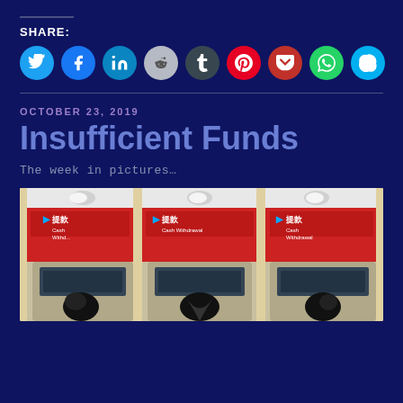SHARE:
[Figure (infographic): Row of 9 social media sharing icon buttons: Twitter (blue), Facebook (blue), LinkedIn (teal/blue), Reddit (light gray), Tumblr (dark gray), Pinterest (red), Pocket (red), WhatsApp (green), Skype (light blue)]
OCTOBER 23, 2019
Insufficient Funds
The week in pictures…
[Figure (photo): Three ATM machines side by side in a bank with red walls showing Chinese characters '提款' (cash withdrawal) signs. The ATM screens and card slots appear to be damaged or broken.]